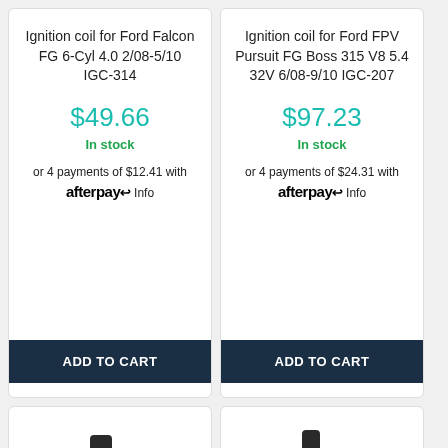Ignition coil for Ford Falcon FG 6-Cyl 4.0 2/08-5/10 IGC-314
$49.66
In stock
or 4 payments of $12.41 with afterpay Info
ADD TO CART
Ignition coil for Ford FPV Pursuit FG Boss 315 V8 5.4 32V 6/08-9/10 IGC-207
$97.23
In stock
or 4 payments of $24.31 with afterpay Info
ADD TO CART
[Figure (photo): Black ignition coil automotive part photographed on white background]
[Figure (photo): Black ignition coil automotive part photographed on white background with chat support button overlay]